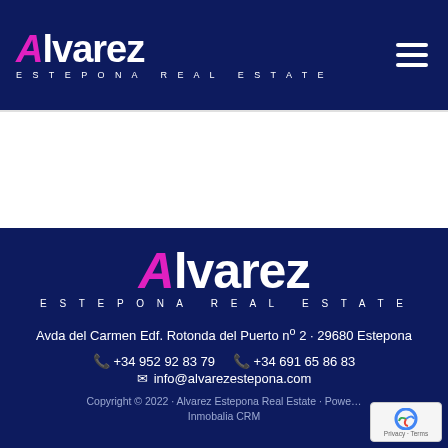[Figure (logo): Alvarez Estepona Real Estate logo in white and magenta on dark navy background, with hamburger menu icon top right]
[Figure (logo): Alvarez Estepona Real Estate logo centered in white and magenta on dark navy footer background]
Avda del Carmen Edf. Rotonda del Puerto nº 2 · 29680 Estepona
📞 +34 952 92 83 79    📞 +34 691 65 86 83
✉ info@alvarezestepona.com
Copyright © 2022 · Alvarez Estepona Real Estate · Powered by Inmobalia CRM